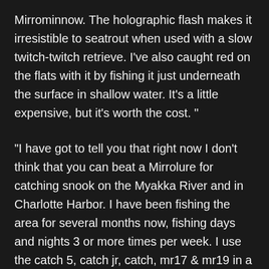Mirrominnow. The holographic flash makes it irresistible to seatrout when used with a slow twitch-twitch retrieve. I've also caught red on the flats with it by fishing it just underneath the surface in shallow water. It's a little expensive, but it's worth the cost. "
"I have got to tell you that right now I don't think that you can beat a Mirrolure for catching snook on the Myakka River and in Charlotte Harbor. I have been fishing the area for several months now, fishing days and nights 3 or more times per week. I use the catch 5, catch jr, catch, mr17 & mr19 in a variety of colors. They all consistently outperform even live bait for snook. I have caught other species